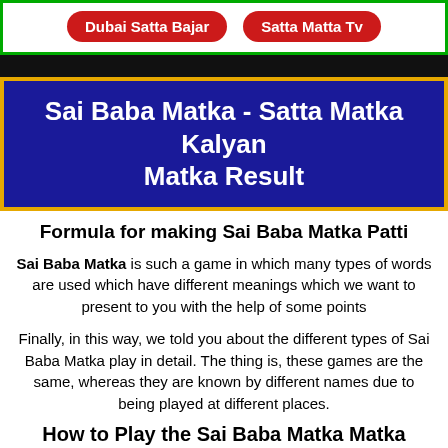Dubai Satta Bajar | Satta Matta Tv
Sai Baba Matka - Satta Matka Kalyan Matka Result
Formula for making Sai Baba Matka Patti
Sai Baba Matka is such a game in which many types of words are used which have different meanings which we want to present to you with the help of some points
Finally, in this way, we told you about the different types of Sai Baba Matka play in detail. The thing is, these games are the same, whereas they are known by different names due to being played at different places.
How to Play the Sai Baba Matka Matka Game
The Sai Baba Matka game originated in the state of Maharashtra in India and has spread to every corner of the country. This game has gained popularity due to its simplicit...